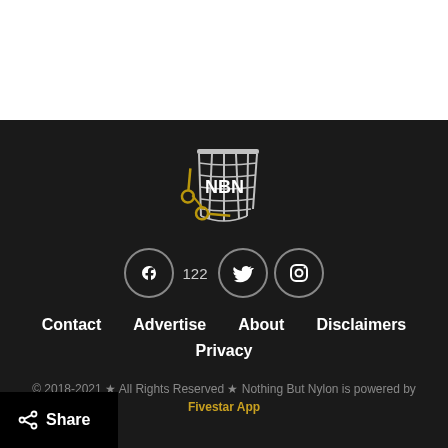[Figure (logo): NBN (Nothing But Nylon) basketball net logo with scissors icon in gold/white on dark background]
122
Contact   Advertise   About   Disclaimers   Privacy
© 2018-2021 ★ All Rights Reserved ★ Nothing But Nylon is powered by Fivestar App
Share